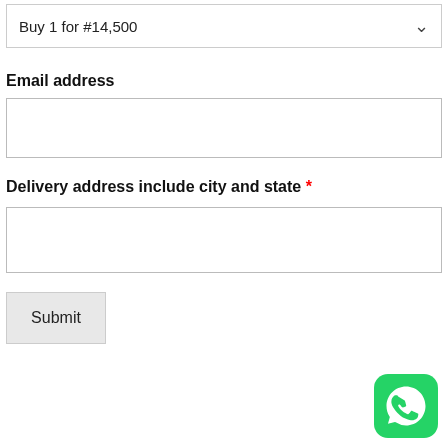Buy 1 for #14,500
Email address
Delivery address include city and state *
Submit
[Figure (logo): WhatsApp logo — green rounded square icon with white phone handset inside speech bubble]